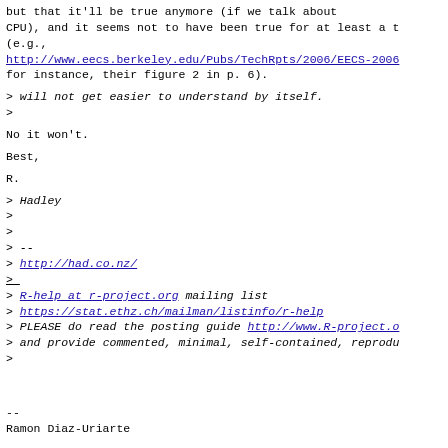but that it'll be true anymore (if we talk about CPU), and it seems not to have been true for at least a t (e.g., http://www.eecs.berkeley.edu/Pubs/TechRpts/2006/EECS-2006 for instance, their figure 2 in p. 6).
> will not get easier to understand by itself.
>
No it won't.
Best,
R.
> Hadley
>
>
> --
> http://had.co.nz/
>
> R-help at r-project.org mailing list
> https://stat.ethz.ch/mailman/listinfo/r-help
> PLEASE do read the posting guide http://www.R-project.o
> and provide commented, minimal, self-contained, reprodu
>
--
Ramon Diaz-Uriarte